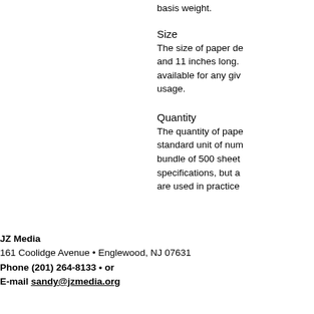basis weight.
Size
The size of paper de and 11 inches long. available for any giv usage.
Quantity
The quantity of pape standard unit of num bundle of 500 sheet specifications, but a are used in practice
JZ Media
161 Coolidge Avenue • Englewood, NJ 07631
Phone (201) 264-8133 • or
E-mail sandy@jzmedia.org